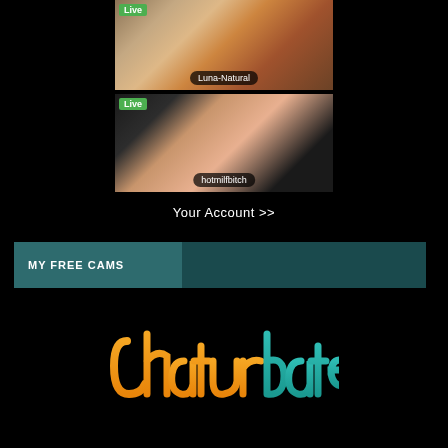[Figure (screenshot): Live webcam thumbnail for Luna-Natural with green Live badge]
[Figure (screenshot): Live webcam thumbnail for hotmilfbitch with green Live badge]
Your Account >>
MY FREE CAMS
[Figure (logo): Chaturbate logo in orange and teal script lettering]